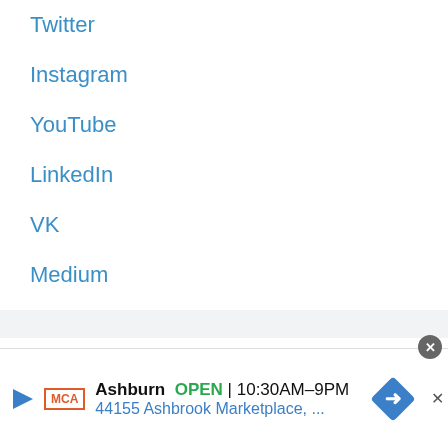Twitter
Instagram
YouTube
LinkedIn
VK
Medium
Subscribe to Blog via Email
Enter your email address to subscribe to this blog and receive notifications of new posts
[Figure (other): Advertisement banner: Ashburn OPEN 10:30AM-9PM | 44155 Ashbrook Marketplace, ... with MCA logo and navigation arrow icon]